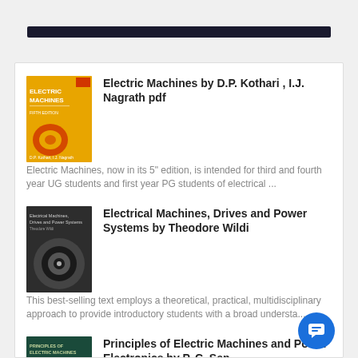[Figure (illustration): Dark navigation bar banner at top of webpage]
Electric Machines by D.P. Kothari , I.J. Nagrath pdf — Electric Machines, now in its 5" edition, is intended for third and fourth year UG students and first year PG students of electrical ...
Electrical Machines, Drives and Power Systems by Theodore Wildi — This best-selling text employs a theoretical, practical, multidisciplinary approach to provide introductory students with a broad understa...
Principles of Electric Machines and Power Electronics by P. C. Sen — This new edition combines the traditional areas of electric machinery with the latest in modern control and power electronics. It includes...
Made Easy Power System work book